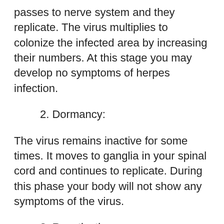passes to nerve system and they replicate. The virus multiplies to colonize the infected area by increasing their numbers. At this stage you may develop no symptoms of herpes infection.
2. Dormancy:
The virus remains inactive for some times. It moves to ganglia in your spinal cord and continues to replicate. During this phase your body will not show any symptoms of the virus.
3. Reactivation
The virus inside your body system becomes activated once again due to presence of triggers like fatigue, stress, fever, exposure to ultraviolet light from the sun and also weakened body